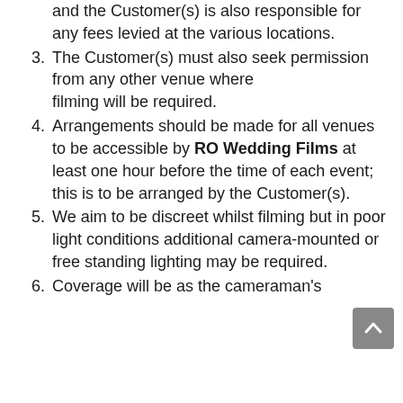and the Customer(s) is also responsible for any fees levied at the various locations.
3. The Customer(s) must also seek permission from any other venue where filming will be required.
4. Arrangements should be made for all venues to be accessible by RO Wedding Films at least one hour before the time of each event; this is to be arranged by the Customer(s).
5. We aim to be discreet whilst filming but in poor light conditions additional camera-mounted or free standing lighting may be required.
6. Coverage will be as the cameraman's